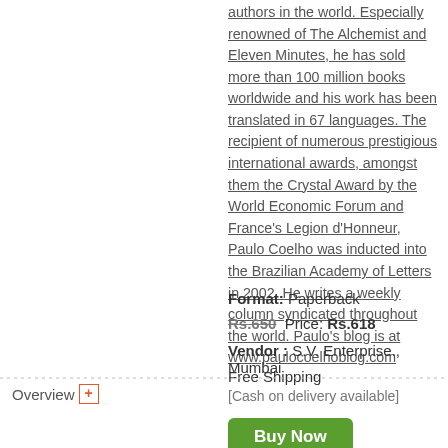authors in the world. Especially renowned of The Alchemist and Eleven Minutes, he has sold more than 100 million books worldwide and his work has been translated in 67 languages. The recipient of numerous prestigious international awards, amongst them the Crystal Award by the World Economic Forum and France's Legion d'Honneur, Paulo Coelho was inducted into the Brazilian Academy of Letters in 2002. He writes a weekly column syndicated throughout the world. Paulo's blog is at www.paulocoelhoblog.com
Format: Paperback
Rs.650  Price: Rs.618
Vendor : S.V. Enterprise., Mumbai
Free Shipping
[Cash on delivery available]
Buy Now
Overview +